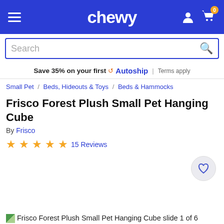chewy
Search
Save 35% on your first Autoship | Terms apply
Small Pet / Beds, Hideouts & Toys / Beds & Hammocks
Frisco Forest Plush Small Pet Hanging Cube
By Frisco
15 Reviews
[Figure (photo): Frisco Forest Plush Small Pet Hanging Cube slide 1 of 6]